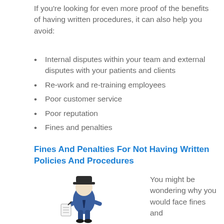If you're looking for even more proof of the benefits of having written procedures, it can also help you avoid:
Internal disputes within your team and external disputes with your patients and clients
Re-work and re-training employees
Poor customer service
Poor reputation
Fines and penalties
Fines And Penalties For Not Having Written Policies And Procedures
[Figure (illustration): 3D cartoon police officer figure in blue uniform writing a ticket, holding a notepad]
You might be wondering why you would face fines and